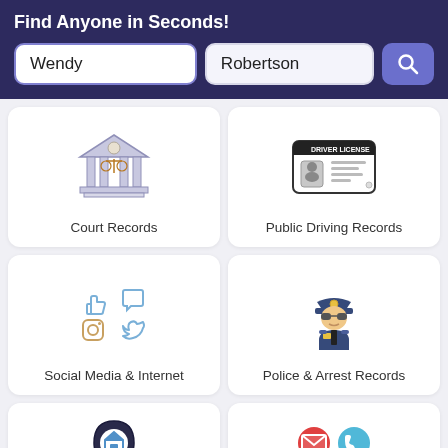Find Anyone in Seconds!
Wendy
Robertson
[Figure (screenshot): Search interface with first name 'Wendy', last name 'Robertson', and a blue search button with magnifying glass icon]
[Figure (illustration): Court building icon with scales of justice]
Court Records
[Figure (illustration): Driver license card icon]
Public Driving Records
[Figure (illustration): Social media icons: thumbs up, chat bubble, Instagram, Twitter]
Social Media & Internet
[Figure (illustration): Police officer icon with sunglasses and uniform]
Police & Arrest Records
[Figure (illustration): Map pin with house icon]
Real Estate & Property Public Records
[Figure (illustration): Four colored circles: envelope (red), phone (light blue), smartphone (teal), email at symbol (yellow)]
Public Email and Phone Number Sources